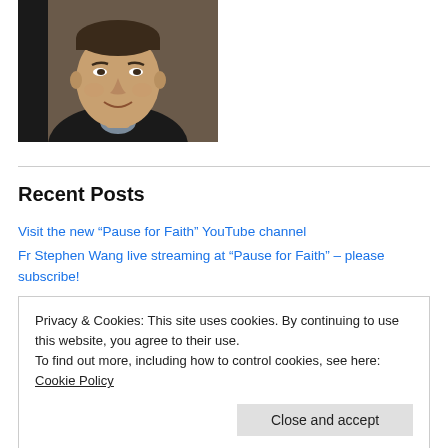[Figure (photo): Headshot photo of a smiling middle-aged man with short dark hair, wearing a dark jacket over a light shirt, photographed indoors.]
Recent Posts
Visit the new “Pause for Faith” YouTube channel
Fr Stephen Wang live streaming at “Pause for Faith” – please subscribe!
From St Peter and the Apostles to the Catholic Church today
Privacy & Cookies: This site uses cookies. By continuing to use this website, you agree to their use.
To find out more, including how to control cookies, see here: Cookie Policy
Sycamore Testimonies